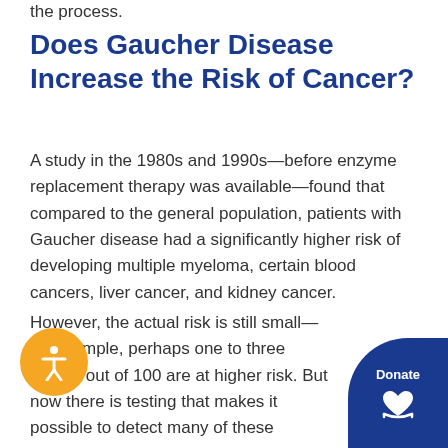the process.
Does Gaucher Disease Increase the Risk of Cancer?
A study in the 1980s and 1990s—before enzyme replacement therapy was available—found that compared to the general population, patients with Gaucher disease had a significantly higher risk of developing multiple myeloma, certain blood cancers, liver cancer, and kidney cancer.
However, the actual risk is still small—for example, perhaps one to three people out of 100 are at higher risk. But now there is testing that makes it possible to detect many of these cancers when they are at an early stage and easier to treat with surgery or drug therapy.